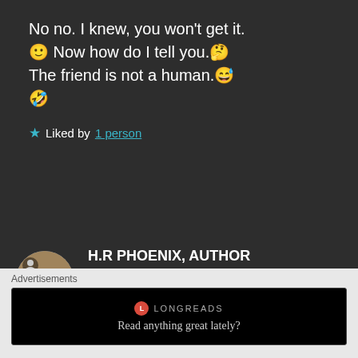No no. I knew, you won't get it. 🙂 Now how do I tell you.🤔 The friend is not a human.😅 🤣
★ Liked by 1 person
H.R PHOENIX, AUTHOR says:
Jun 11, 2020 at 6:22 PM
OHHHHHHH!!!!!!!!!! 😂😂😂😂😂😂😂😂
Advertisements
[Figure (screenshot): Longreads advertisement banner with logo and tagline 'Read anything great lately?']